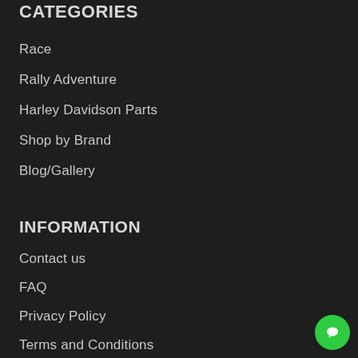CATEGORIES
Race
Rally Adventure
Harley Davidson Parts
Shop by Brand
Blog/Gallery
INFORMATION
Contact us
FAQ
Privacy Policy
Terms and Conditions